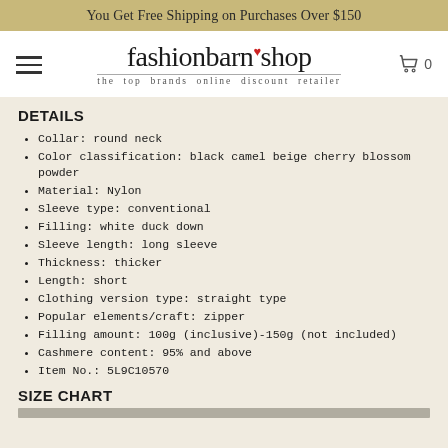You Get Free Shipping on Purchases Over $150
[Figure (logo): fashionbarn shop logo with tagline 'the top brands online discount retailer']
DETAILS
Collar: round neck
Color classification: black camel beige cherry blossom powder
Material: Nylon
Sleeve type: conventional
Filling: white duck down
Sleeve length: long sleeve
Thickness: thicker
Length: short
Clothing version type: straight type
Popular elements/craft: zipper
Filling amount: 100g (inclusive)-150g (not included)
Cashmere content: 95% and above
Item No.: 5L9C10570
SIZE CHART